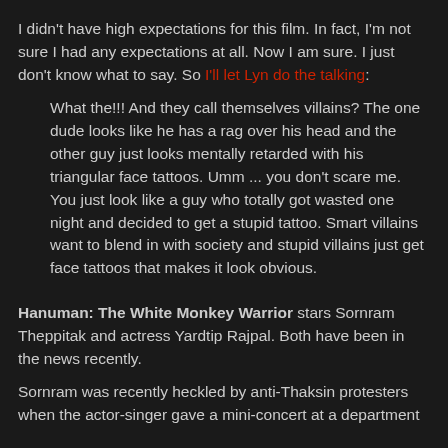I didn't have high expectations for this film. In fact, I'm not sure I had any expectations at all. Now I am sure. I just don't know what to say. So I'll let Lyn do the talking:
What the!!! And they call themselves villains? The one dude looks like he has a rag over his head and the other guy just looks mentally retarded with his triangular face tattoos. Umm ... you don't scare me. You just look like a guy who totally got wasted one night and decided to get a stupid tattoo. Smart villains want to blend in with society and stupid villains just get face tattoos that makes it look obvious.
Hanuman: The White Monkey Warrior stars Sornram Theppitak and actress Yardtip Rajpal. Both have been in the news recently.
Sornram was recently heckled by anti-Thaksin protesters when the actor-singer gave a mini-concert at a department